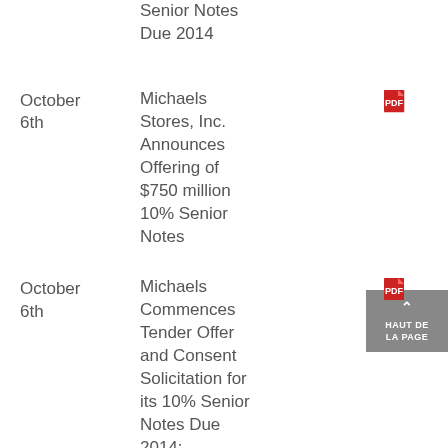Senior Notes Due 2014
October 6th — Michaels Stores, Inc. Announces Offering of $750 million 10% Senior Notes
October 6th — Michaels Commences Tender Offer and Consent Solicitation for its 10% Senior Notes Due 2014; Announces Other Recent Developments